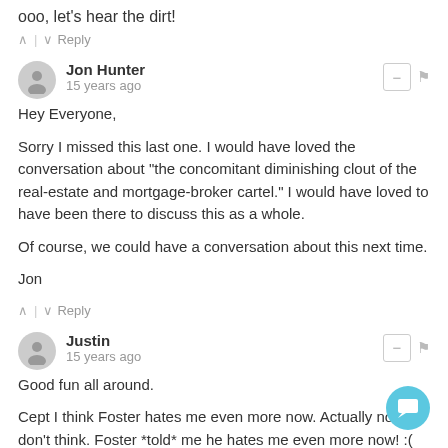ooo, let's hear the dirt!
^ | v  Reply
Jon Hunter
15 years ago
Hey Everyone,

Sorry I missed this last one. I would have loved the conversation about "the concomitant diminishing clout of the real-estate and mortgage-broker cartel." I would have loved to have been there to discuss this as a whole.

Of course, we could have a conversation about this next time.

Jon
^ | v  Reply
Justin
15 years ago
Good fun all around.

Cept I think Foster hates me even more now. Actually no, I don't think. Foster *told* me he hates me even more now! :(